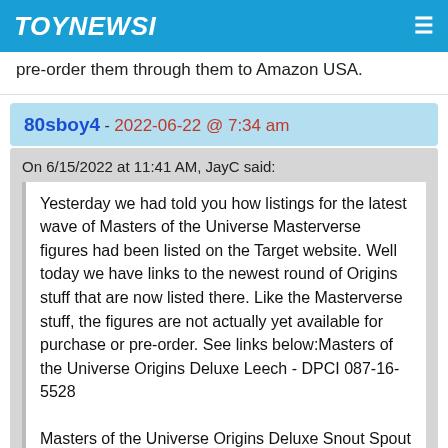TOYNEWSI
pre-order them through them to Amazon USA.
80sboy4 - 2022-06-22 @ 7:34 am
On 6/15/2022 at 11:41 AM, JayC said:
Yesterday we had told you how listings for the latest wave of Masters of the Universe Masterverse figures had been listed on the Target website. Well today we have links to the newest round of Origins stuff that are now listed there. Like the Masterverse stuff, the figures are not actually yet available for purchase or pre-order. See links below:Masters of the Universe Origins Deluxe Leech - DPCI 087-16-5528

Masters of the Universe Origins Deluxe Snout Spout - DPCI 087-16-5550 Masters of the...